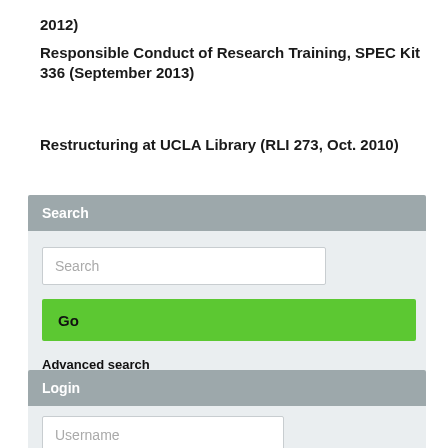2012)
Responsible Conduct of Research Training, SPEC Kit 336 (September 2013)
Restructuring at UCLA Library (RLI 273, Oct. 2010)
Search
[Figure (screenshot): Search widget with a text input box showing placeholder 'Search', a green 'Go' button, and an 'Advanced search' link below.]
Login
[Figure (screenshot): Login widget with a Username input field visible at the bottom of the page.]